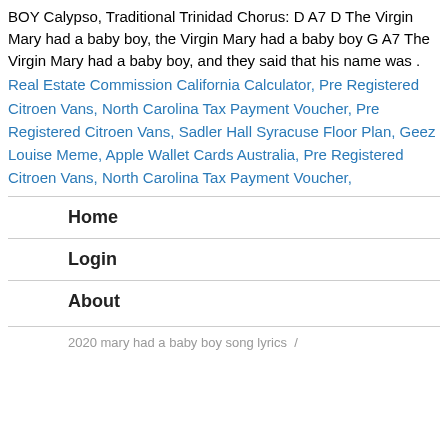BOY Calypso, Traditional Trinidad Chorus: D A7 D The Virgin Mary had a baby boy, the Virgin Mary had a baby boy G A7 The Virgin Mary had a baby boy, and they said that his name was .
Real Estate Commission California Calculator, Pre Registered Citroen Vans, North Carolina Tax Payment Voucher, Pre Registered Citroen Vans, Sadler Hall Syracuse Floor Plan, Geez Louise Meme, Apple Wallet Cards Australia, Pre Registered Citroen Vans, North Carolina Tax Payment Voucher,
Home
Login
About
2020 mary had a baby boy song lyrics  /